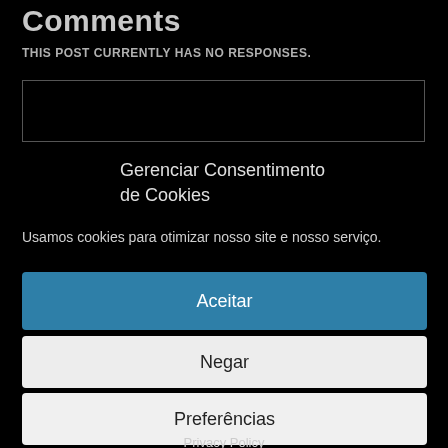Comments
THIS POST CURRENTLY HAS NO RESPONSES.
Gerenciar Consentimento de Cookies
Usamos cookies para otimizar nosso site e nosso serviço.
Aceitar
Negar
Preferências
Privacy Policy